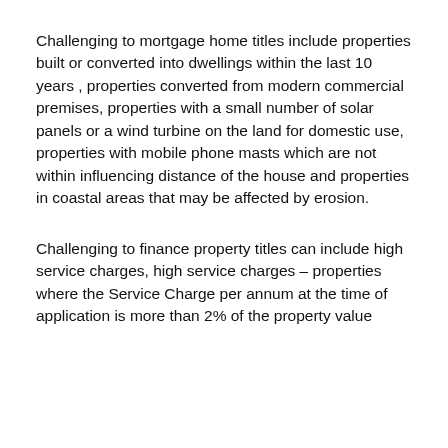Challenging to mortgage home titles include properties built or converted into dwellings within the last 10 years , properties converted from modern commercial premises, properties with a small number of solar panels or a wind turbine on the land for domestic use, properties with mobile phone masts which are not within influencing distance of the house and properties in coastal areas that may be affected by erosion.
Challenging to finance property titles can include high service charges, high service charges – properties where the Service Charge per annum at the time of application is more than 2% of the property value